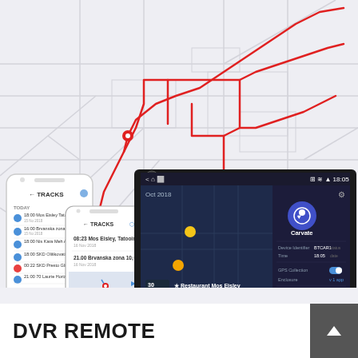[Figure (screenshot): Product marketing image showing GPS tracking app on mobile phone and car head unit. Background shows a map with red GPS route overlay. Left shows a white iPhone with TRACKS list app screen. Center shows a smaller phone with a map track. Right shows a car multimedia unit displaying a navigation/dashcam app (Carvate) with a blue map, location pins, and settings panel showing GPS Collection, Enclosure, and MPP Download options. Time shown is 18:05.]
DVR REMOTE